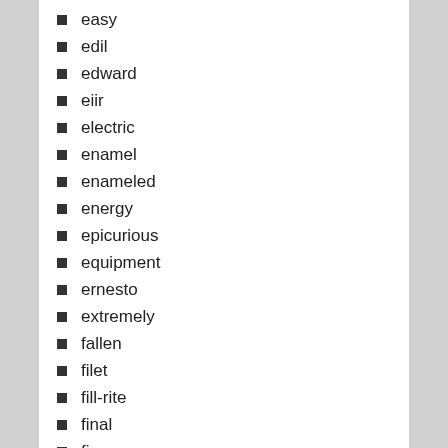easy
edil
edward
eiir
electric
enamel
enameled
energy
epicurious
equipment
ernesto
extremely
fallen
filet
fill-rite
final
fine
finex
fire
floor
folding
ford